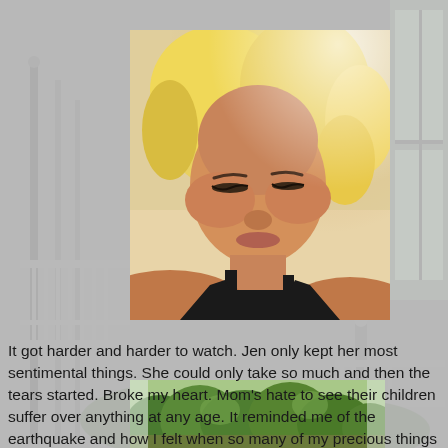[Figure (photo): Close-up portrait of a blonde woman looking downward, appearing emotional, taken indoors with bright light behind her, wearing a black tank top.]
It got harder and harder to watch. Jen only kept her most sentimental things. She could only take so much and then the tears started. Broke my heart. Mom's hate to see their children suffer over anything at any age. It reminded me of the earthquake and how I felt when so many of my precious things were just demolished.
[Figure (photo): Outdoor garden scene with green trees and shrubs, viewed from a porch or veranda.]